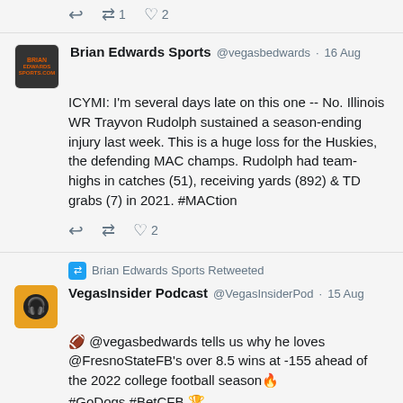Top actions row (reply, retweet, 2 likes)
Brian Edwards Sports @vegasbedwards · 16 Aug — ICYMI: I'm several days late on this one -- No. Illinois WR Trayvon Rudolph sustained a season-ending injury last week. This is a huge loss for the Huskies, the defending MAC champs. Rudolph had team-highs in catches (51), receiving yards (892) & TD grabs (7) in 2021. #MACtion
Brian Edwards Sports Retweeted
VegasInsider Podcast @VegasInsiderPod · 15 Aug — 🏈 @vegasbedwards tells us why he loves @FresnoStateFB's over 8.5 wins at -155 ahead of the 2022 college football season🔥
#GoDogs #BetCFB 🏆